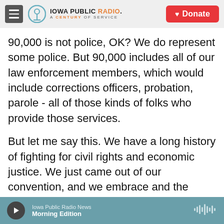Iowa Public Radio. A Century of Service. Donate
90,000 is not police, OK? We do represent some police. But 90,000 includes all of our law enforcement members, which would include corrections officers, probation, parole - all of those kinds of folks who provide those services.
But let me say this. We have a long history of fighting for civil rights and economic justice. We just came out of our convention, and we embrace and the delegates of that convention embrace significant police reforms because we know that we must end and we've got to address deep-seated racism and inequalities when we find them.
Iowa Public Radio News
Morning Edition